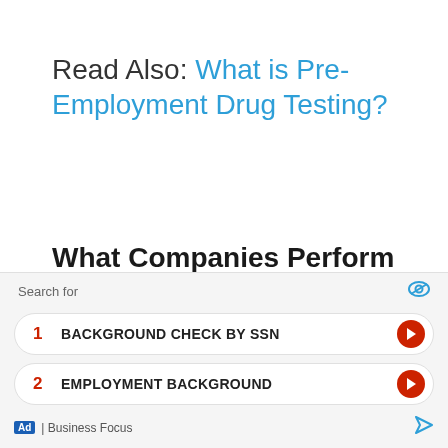Read Also: What is Pre-Employment Drug Testing?
What Companies Perform Pre-Employment Background Checks?
Financial institutions, government agencies, hospitals, insurance companies, nonprofits, consumer credit facilities, landlords, lenders, retailers, pharmaceutical firms...
[Figure (other): Advertisement bar with search-style links: 1. BACKGROUND CHECK BY SSN, 2. EMPLOYMENT BACKGROUND; labeled 'Business Focus']